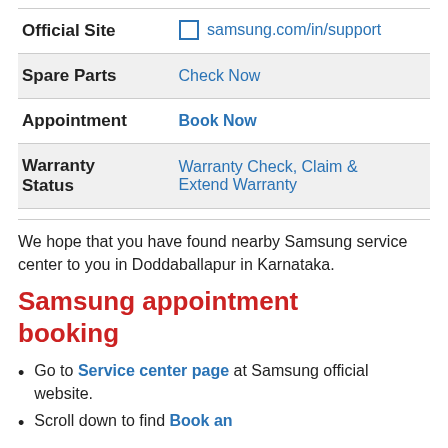|  |  |
| --- | --- |
| Official Site | samsung.com/in/support |
| Spare Parts | Check Now |
| Appointment | Book Now |
| Warranty Status | Warranty Check, Claim & Extend Warranty |
We hope that you have found nearby Samsung service center to you in Doddaballapur in Karnataka.
Samsung appointment booking
Go to Service center page at Samsung official website.
Scroll down to find Book an